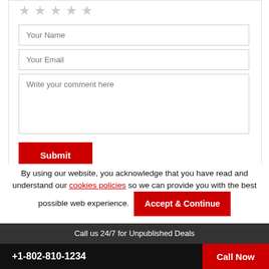[Figure (screenshot): Five star rating icons (all unfilled/gray) at the top of a review/comment form]
Your Name
Your Email
Write your comment here
Submit
By using our website, you acknowledge that you have read and understand our cookies policies so we can provide you with the best possible web experience.
Accept & Continue
Call us 24/7 for Unpublished Deals
+1-802-810-1234  Call Now